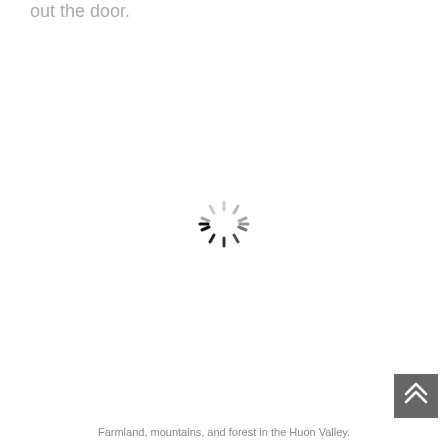out the door.
[Figure (other): Loading spinner icon — circular arrangement of short dark dashes radiating from center, resembling a clock/spinner UI element]
Farmland, mountains, and forest in the Huon Valley.
[Figure (other): Dark grey square button with double upward chevron arrows (scroll to top button), positioned in the bottom-right corner]